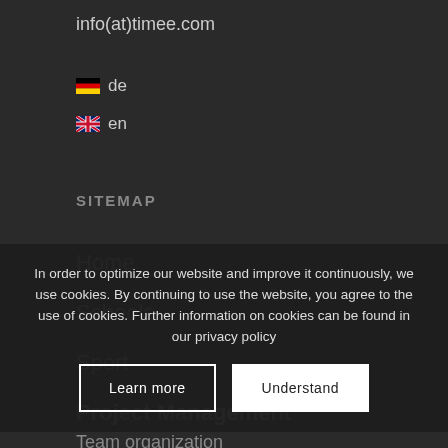info(at)timee.com
🇩🇪 de
🇬🇧 en
SITEMAP
Home
Schools
Sport
Project Management
Team organization
timee Testimonials – vivo
MORE
In order to optimize our website and improve it continuously, we use cookies. By continuing to use the website, you agree to the use of cookies. Further information on cookies can be found in our privacy policy
Learn more
Understand